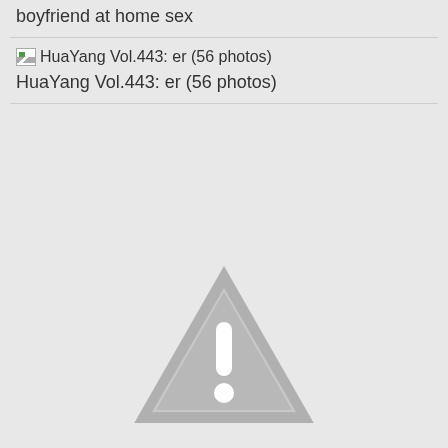boyfriend at home sex
[img] HuaYang Vol.443: er (56 photos)
HuaYang Vol.443: er (56 photos)
[Figure (illustration): Warning triangle icon with exclamation mark in gray]